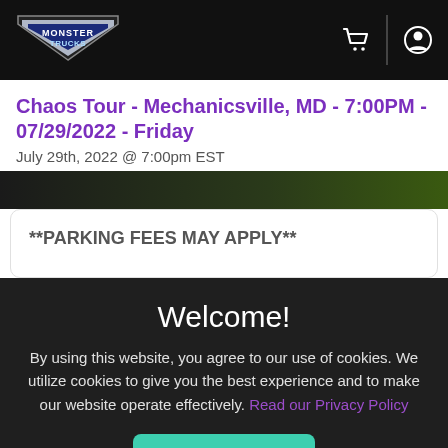Monster Trucks - header navigation with logo, cart icon, and user icon
Chaos Tour - Mechanicsville, MD - 7:00PM - 07/29/2022 - Friday
July 29th, 2022 @ 7:00pm EST
**PARKING FEES MAY APPLY**
Welcome!
By using this website, you agree to our use of cookies. We utilize cookies to give you the best experience and to make our website operate effectively. Read our Privacy Policy
I Accept